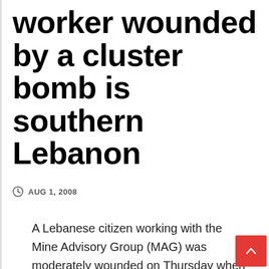worker wounded by a cluster bomb is southern Lebanon
AUG 1, 2008
A Lebanese citizen working with the Mine Advisory Group (MAG) was moderately wounded on Thursday when a cluster bomb dropped by Israel during the 2006 war detonated near him as he was attempting to disarm landmines in a village in southern Lebanon.